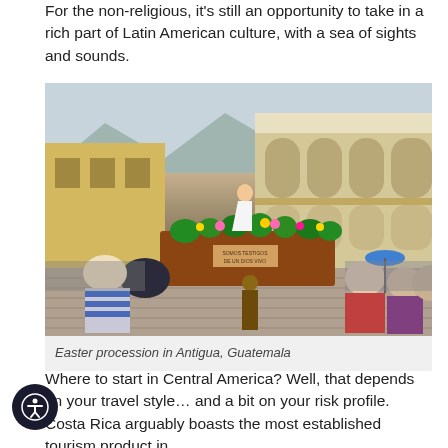For the non-religious, it's still an opportunity to take in a rich part of Latin American culture, with a sea of sights and sounds.
[Figure (photo): Easter procession in Antigua, Guatemala — a crowd carrying a large float with a religious statue adorned with flowers through a cobblestone square, with colonial architecture in the background.]
Easter procession in Antigua, Guatemala
Where to start in Central America? Well, that depends on your travel style… and a bit on your risk profile. Costa Rica arguably boasts the most established tourism product in